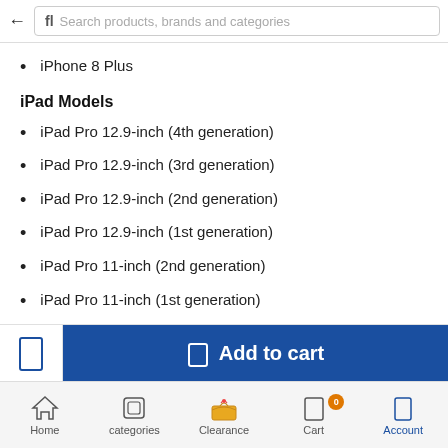Search products, brands and categories
iPhone 8 Plus
iPad Models
iPad Pro 12.9-inch (4th generation)
iPad Pro 12.9-inch (3rd generation)
iPad Pro 12.9-inch (2nd generation)
iPad Pro 12.9-inch (1st generation)
iPad Pro 11-inch (2nd generation)
iPad Pro 11-inch (1st generation)
iPad Pro 10.5-inch
Add to cart | Home | categories | Clearance | Cart 0 | Account